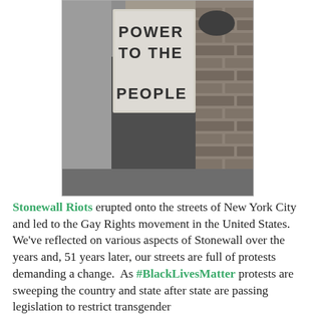[Figure (photo): Black and white photograph of a person holding a protest sign reading 'POWER TO THE PEOPLE'. The person is seated in front of a brick wall.]
Stonewall Riots erupted onto the streets of New York City and led to the Gay Rights movement in the United States.  We've reflected on various aspects of Stonewall over the years and, 51 years later, our streets are full of protests demanding a change.  As #BlackLivesMatter protests are sweeping the country and state after state are passing legislation to restrict transgender participation in all areas of life. Mo...